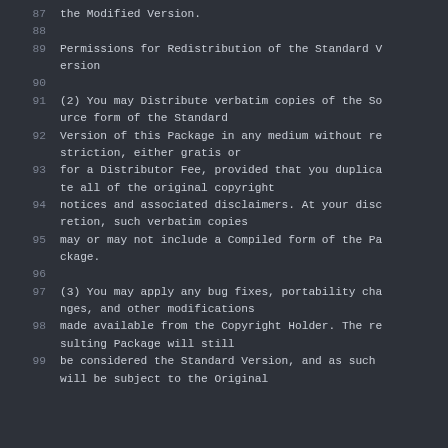87    the Modified Version.
88
89    Permissions for Redistribution of the Standard Version
90
91    (2) You may Distribute verbatim copies of the Source form of the Standard
92    Version of this Package in any medium without restriction, either gratis or
93    for a Distributor Fee, provided that you duplicate all of the original copyright
94    notices and associated disclaimers. At your discretion, such verbatim copies
95    may or may not include a Compiled form of the Package.
96
97    (3) You may apply any bug fixes, portability changes, and other modifications
98    made available from the Copyright Holder. The resulting Package will still
99    be considered the Standard Version, and as such will be subject to the Original